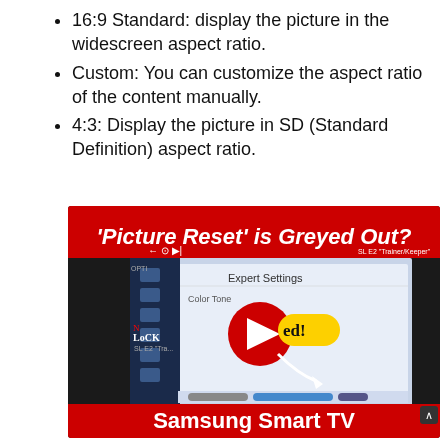16:9 Standard: display the picture in the widescreen aspect ratio.
Custom: You can customize the aspect ratio of the content manually.
4:3: Display the picture in SD (Standard Definition) aspect ratio.
[Figure (screenshot): YouTube thumbnail showing a Samsung Smart TV with text 'Picture Reset is Greyed Out?' and a YouTube play button overlay with 'ed!' label, Expert Settings menu visible on TV screen, and 'Samsung Smart TV' text at bottom.]